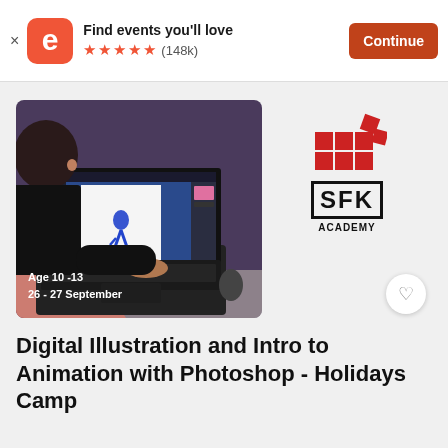[Figure (screenshot): Eventbrite app banner with logo, 'Find events you'll love' text, five orange stars, (148k) rating, and orange Continue button]
[Figure (photo): Person sitting at a Dell laptop working in Adobe Photoshop with a digital character animation visible on screen. Red diagonal stripe bottom-left. Text overlay: Age 10-13, 26-27 September. SFK Academy logo on right with red grid squares logo and SFK text in box.]
Digital Illustration and Intro to Animation with Photoshop - Holidays Camp